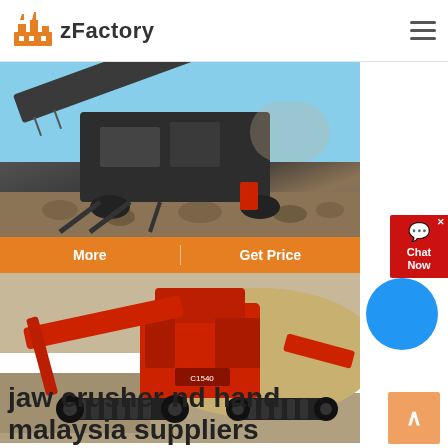zFactory
[Figure (photo): Industrial mining/crushing equipment on site with blue sky background, showing large conveyor and crusher machinery]
More   Get Price
[Figure (photo): Red mobile jaw crusher (C1540) on tracked undercarriage, shown on gravel site]
jaw crusher nd hand malaysia suppliers